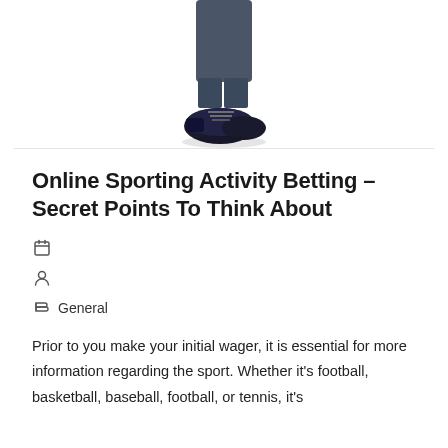[Figure (photo): Partial view of a person's lower legs and feet wearing dark dress shoes and dark socks with jeans, photographed from the knees down against a white background.]
Online Sporting Activity Betting – Secret Points To Think About
General
Prior to you make your initial wager, it is essential for more information regarding the sport. Whether it's football, basketball, baseball, football, or tennis, it's